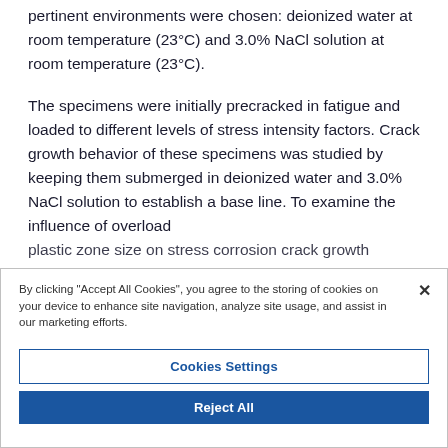pertinent environments were chosen: deionized water at room temperature (23°C) and 3.0% NaCl solution at room temperature (23°C).
The specimens were initially precracked in fatigue and loaded to different levels of stress intensity factors. Crack growth behavior of these specimens was studied by keeping them submerged in deionized water and 3.0% NaCl solution to establish a base line. To examine the influence of overload plastic zone size on stress corrosion crack growth behavior
By clicking "Accept All Cookies", you agree to the storing of cookies on your device to enhance site navigation, analyze site usage, and assist in our marketing efforts.
Cookies Settings
Reject All